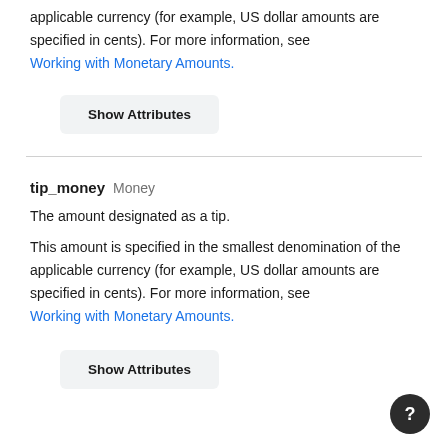The amount is specified in the smallest denomination of the applicable currency (for example, US dollar amounts are specified in cents). For more information, see Working with Monetary Amounts.
Show Attributes
tip_money  Money
The amount designated as a tip.
This amount is specified in the smallest denomination of the applicable currency (for example, US dollar amounts are specified in cents). For more information, see Working with Monetary Amounts.
Show Attributes